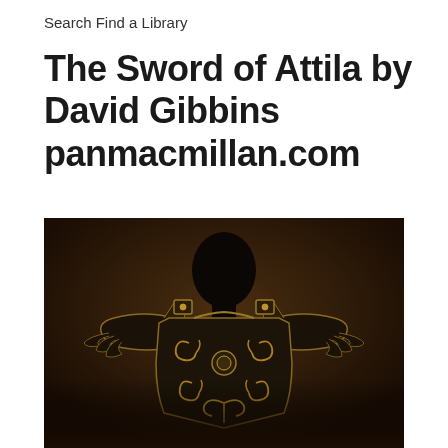Search Find a Library
The Sword of Attila by David Gibbins panmacmillan.com
[Figure (photo): A dark, dramatic image of an ornate Roman-style breastplate/cuirass armor with gold decorative scrollwork and shoulder guards, shown from the back, with a silhouetted headless figure wearing it against a dark brown background.]